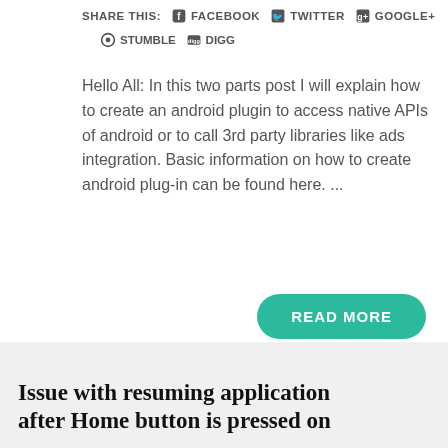SHARE THIS: FACEBOOK TWITTER GOOGLE+ STUMBLE DIGG
Hello All: In this two parts post I will explain how to create an android plugin to access native APIs of android or to call 3rd party libraries like ads integration. Basic information on how to create android plug-in can be found here. ...
READ MORE
ASHWANI K
12:20 AM
3 COMMENTS
ANDROID , C# , JAVA , PLUG-IN , TUTORIALS , UNITY3D
Issue with resuming application after Home button is pressed on